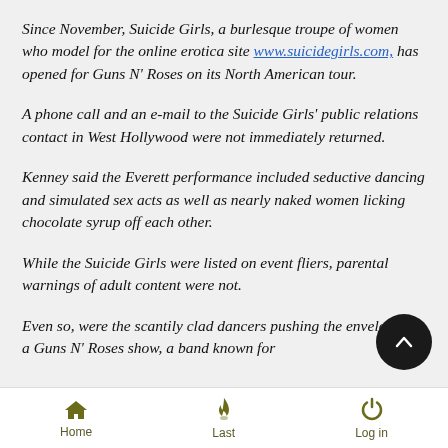Since November, Suicide Girls, a burlesque troupe of women who model for the online erotica site www.suicidegirls.com, has opened for Guns N' Roses on its North American tour.
A phone call and an e-mail to the Suicide Girls' public relations contact in West Hollywood were not immediately returned.
Kenney said the Everett performance included seductive dancing and simulated sex acts as well as nearly naked women licking chocolate syrup off each other.
While the Suicide Girls were listed on event fliers, parental warnings of adult content were not.
Even so, were the scantily clad dancers pushing the envelope for a Guns N' Roses show, a band known for
Home  Last  Log in